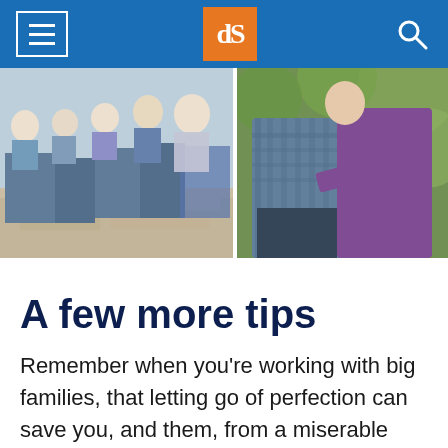dPS navigation header with menu, logo, and search
[Figure (photo): Two family photos side by side: left shows a family with children sitting on stone steps outdoors; right shows a couple embracing outdoors with green foliage in background.]
A few more tips
Remember when you’re working with big families, that letting go of perfection can save you, and them, from a miserable experience. Ki…